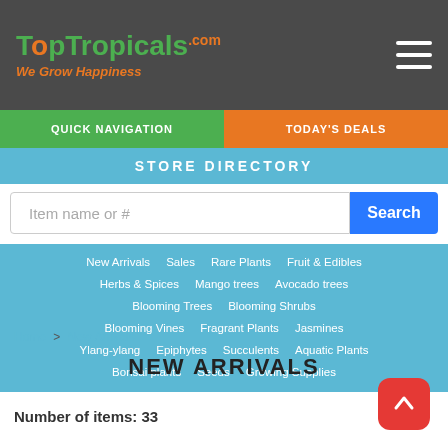[Figure (logo): TopTropicals.com logo with tagline 'We Grow Happiness' on dark gray header bar]
QUICK NAVIGATION | TODAY'S DEALS
STORE DIRECTORY
Item name or #
New Arrivals
Sales
Rare Plants
Fruit & Edibles
Herbs & Spices
Mango trees
Avocado trees
Blooming Trees
Blooming Shrubs
Blooming Vines
Fragrant Plants
Jasmines
Ylang-ylang
Epiphytes
Succulents
Aquatic Plants
Bonsai plants
Seeds
Growing Supplies
Home > New Arrivals
NEW ARRIVALS
Number of items: 33